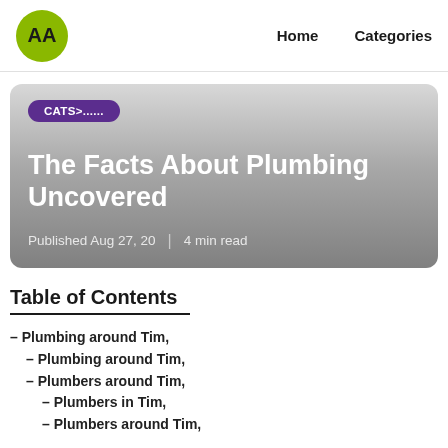AA | Home | Categories
[Figure (other): Hero card with gradient background showing category badge 'CATS>......', article title 'The Facts About Plumbing Uncovered', and metadata 'Published Aug 27, 20 | 4 min read']
Table of Contents
– Plumbing around Tim,
– Plumbing around Tim,
– Plumbers around Tim,
– Plumbers in Tim,
– Plumbers around Tim,